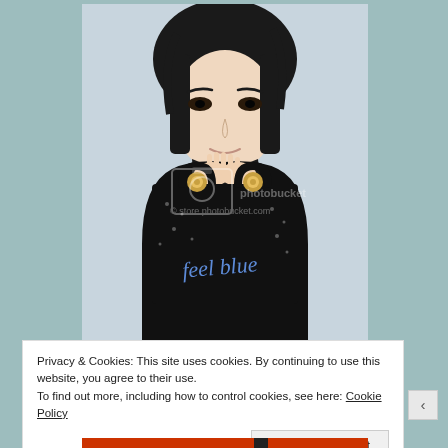[Figure (photo): Young Asian woman with dark hair holding a black Dior 'Lady Blue' embroidered handbag up near her face, wearing a black turtleneck sweater. Photobucket watermark overlay. Light blue-grey background.]
Privacy & Cookies: This site uses cookies. By continuing to use this website, you agree to their use.
To find out more, including how to control cookies, see here: Cookie Policy
Close and accept